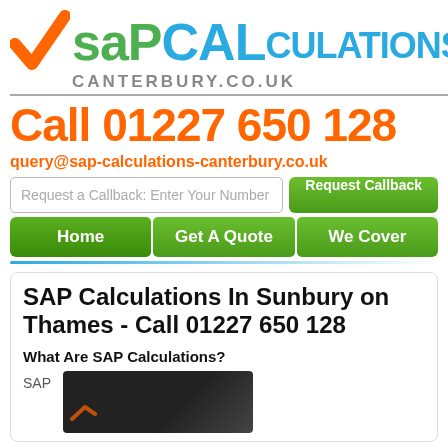[Figure (logo): SAP Calculations Canterbury logo with orange checkmark and green/blue text]
Call 01227 650 128
query@sap-calculations-canterbury.co.uk
Request a Callback: Enter Your Number
Request Callback
Home
Get A Quote
We Cover
SAP Calculations In Sunbury on Thames - Call 01227 650 128
What Are SAP Calculations?
SAP
[Figure (screenshot): Video thumbnail showing SAP Calculations logo on dark background]